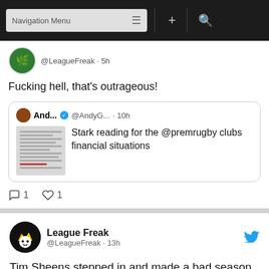Navigation Menu
@LeagueFreak · 5h
Fucking hell, that's outrageous!
And... @AndyG... · 10h — Stark reading for the @premrugby clubs financial situations
1  1
League Freak @LeagueFreak · 13h
Tim Sheens stepped in and made a bad season the very worst in the clubs history.
#NewError